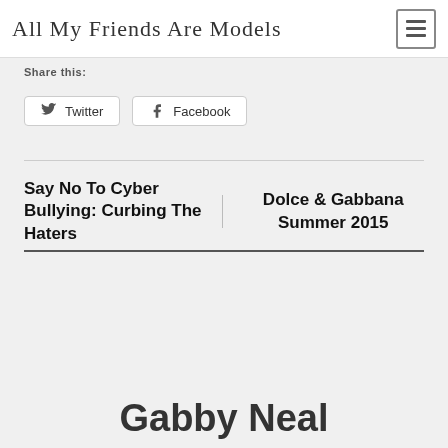All My Friends Are Models
Share this:
Twitter  Facebook
Say No To Cyber Bullying: Curbing The Haters
Dolce & Gabbana Summer 2015
Gabby Neal